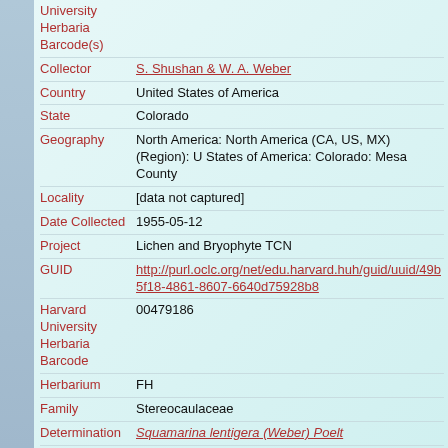| Field | Value |
| --- | --- |
| University Herbaria Barcode(s) |  |
| Collector | S. Shushan & W. A. Weber |
| Country | United States of America |
| State | Colorado |
| Geography | North America: North America (CA, US, MX) (Region): United States of America: Colorado: Mesa County |
| Locality | [data not captured] |
| Date Collected | 1955-05-12 |
| Project | Lichen and Bryophyte TCN |
| GUID | http://purl.oclc.org/net/edu.harvard.huh/guid/uuid/49b5f18-4861-8607-6640d75928b8 |
| Harvard University Herbaria Barcode | 00479186 |
| Herbarium | FH |
| Family | Stereocaulaceae |
| Determination | Squamarina lentigera (Weber) Poelt |
| Determination Remarks | [is filed under name] [is Current name] |